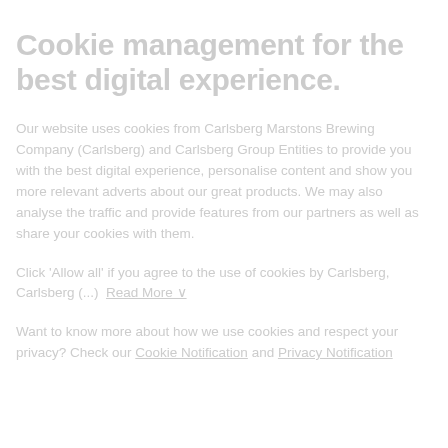Cookie management for the best digital experience.
Our website uses cookies from Carlsberg Marstons Brewing Company (Carlsberg) and Carlsberg Group Entities to provide you with the best digital experience, personalise content and show you more relevant adverts about our great products. We may also analyse the traffic and provide features from our partners as well as share your cookies with them.
Click 'Allow all' if you agree to the use of cookies by Carlsberg, Carlsberg (...)  Read More ∨
Want to know more about how we use cookies and respect your privacy? Check our Cookie Notification and Privacy Notification